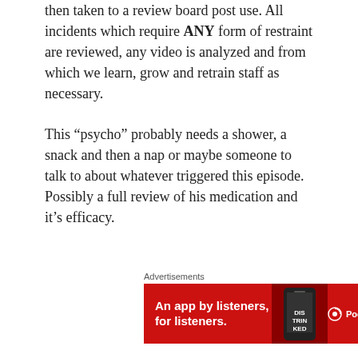then taken to a review board post use. All incidents which require ANY form of restraint are reviewed, any video is analyzed and from which we learn, grow and retrain staff as necessary.
This “psycho” probably needs a shower, a snack and then a nap or maybe someone to talk to about whatever triggered this episode. Possibly a full review of his medication and it’s efficacy.
[Figure (screenshot): Pocket Casts advertisement banner. Red background with white text reading 'An app by listeners, for listeners.' alongside a phone image and Pocket Casts logo.]
Or maybe he was a black kid with autism in Austin, TX who’s group home didn’t pick up his meds and give them to him for a week so he was having a meltdown, going door to door trying to find someone to help him and he gets shot to death by an armed homeowner. #jarodjames #blm